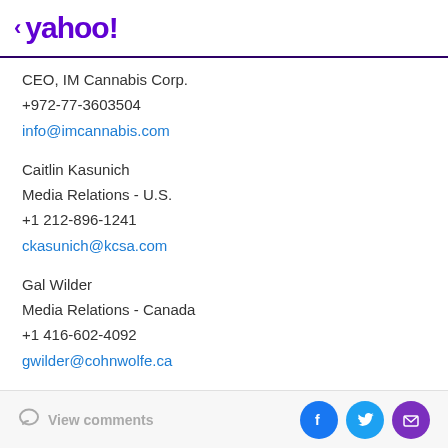< yahoo!
CEO, IM Cannabis Corp.
+972-77-3603504
info@imcannabis.com
Caitlin Kasunich
Media Relations - U.S.
+1 212-896-1241
ckasunich@kcsa.com
Gal Wilder
Media Relations - Canada
+1 416-602-4092
gwilder@cohnwolfe.ca
Elizabeth Barker
View comments